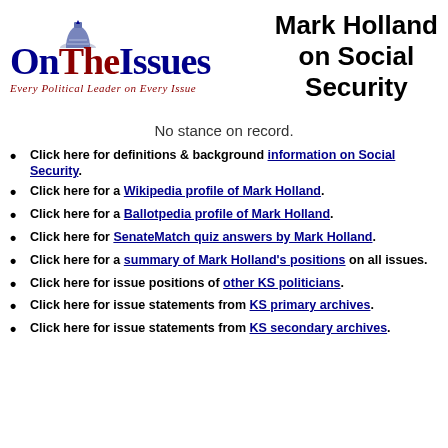[Figure (logo): OnTheIssues logo with dome icon and tagline 'Every Political Leader on Every Issue']
Mark Holland on Social Security
No stance on record.
Click here for definitions & background information on Social Security.
Click here for a Wikipedia profile of Mark Holland.
Click here for a Ballotpedia profile of Mark Holland.
Click here for SenateMatch quiz answers by Mark Holland.
Click here for a summary of Mark Holland's positions on all issues.
Click here for issue positions of other KS politicians.
Click here for issue statements from KS primary archives.
Click here for issue statements from KS secondary archives.